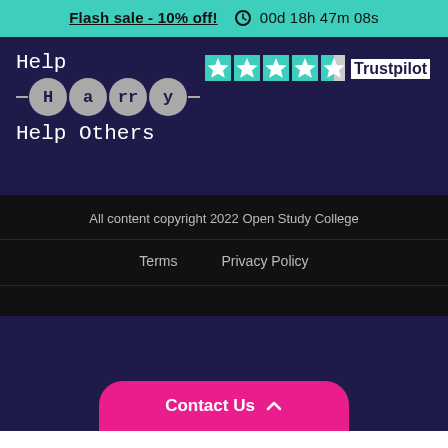Flash sale - 10% off!  00d 18h 47m 08s
[Figure (logo): Help Harry Help Others logo with circular letter bubbles on a dark navy background, with Trustpilot 5-star rating]
All content copyright 2022 Open Study College
Terms    Privacy Policy
Contact Us